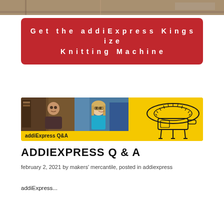[Figure (photo): Partial top edge of a photo, likely showing a knitting machine or craft item on a wooden surface]
Get the addiExpress Kingsize Knitting Machine
[Figure (photo): Blog post banner on yellow background showing two women in video call screenshots on left and a line drawing of an addiExpress knitting machine on right, with label 'addiExpress Q&A']
addiExpress Q & A
february 2, 2021 by makers' mercantile, posted in addiexpress
addiExpress...